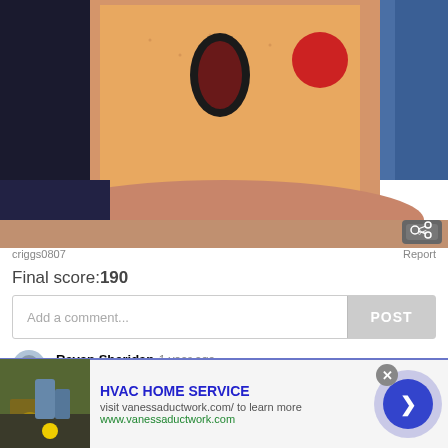[Figure (photo): Close-up photo of skin (arm/belly area) showing a tattoo of Pikachu with yellow skin, black oval mouth, and red cheek circle. Blue fabric visible at edge.]
criggs0807
Report
Final score: 190
Add a comment...
POST
Raven Sheridan  1 year ago
Pikachu is eternal.
93  Reply
View More Replies...
[Figure (photo): Advertisement thumbnail showing hands gardening with yellow flowers]
HVAC HOME SERVICE
visit vanessaductwork.com/ to learn more
www.vanessaductwork.com